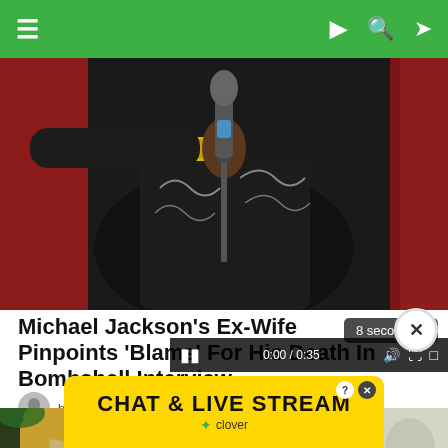Navigation bar with menu icon and search/share icons
[Figure (photo): Michael Jackson performing at a microphone, wearing a black embroidered jacket with silver bracelet, red background curtain]
Michael Jackson’s Ex-Wife Pinpoints ‘Blame’ For His Death In Bombshell Interview
8 seconds...
by Cal Gaunt • a d...
[Figure (photo): Blonde woman close-up photo on the left; blurred medical/hospital scene in the center with blue background; blurred content on the right]
[Figure (screenshot): Video player controls showing 0:00 / 0:35 with pause button, speaker icon, and other controls]
[Figure (other): Advertisement banner: CHAT & LIVE STREAM with Clover logo on yellow background, with close X button]